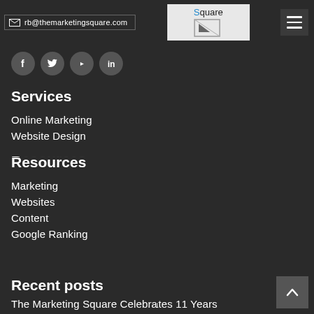rb@themarketingsquare.com
[Figure (logo): The Marketing Square logo with cursor icon]
[Figure (infographic): Social media icons: Facebook, Twitter, YouTube, LinkedIn]
Services
Online Marketing
Website Design
Resources
Marketing
Websites
Content
Google Ranking
Recent posts
The Marketing Square Celebrates 11 Years